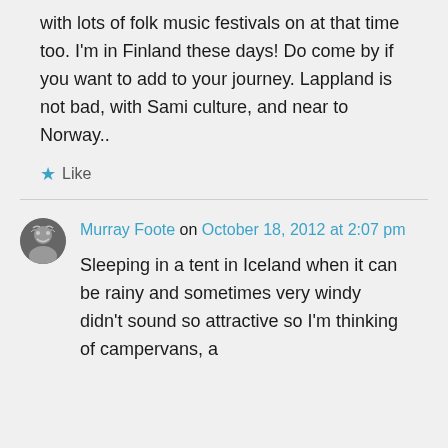with lots of folk music festivals on at that time too. I'm in Finland these days! Do come by if you want to add to your journey. Lappland is not bad, with Sami culture, and near to Norway..
★ Like
Murray Foote on October 18, 2012 at 2:07 pm
Sleeping in a tent in Iceland when it can be rainy and sometimes very windy didn't sound so attractive so I'm thinking of campervans, a